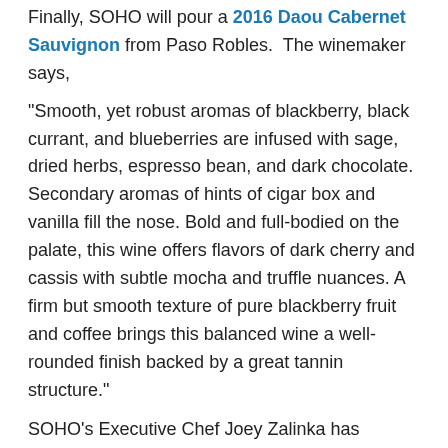Finally, SOHO will pour a 2016 Daou Cabernet Sauvignon from Paso Robles. The winemaker says,
“Smooth, yet robust aromas of blackberry, black currant, and blueberries are infused with sage, dried herbs, espresso bean, and dark chocolate. Secondary aromas of hints of cigar box and vanilla fill the nose. Bold and full-bodied on the palate, this wine offers flavors of dark cherry and cassis with subtle mocha and truffle nuances. A firm but smooth texture of pure blackberry fruit and coffee brings this balanced wine a well-rounded finish backed by a great tannin structure.”
SOHO’s Executive Chef Joey Zalinka has created a suggested tapa plate to pair with each of the wines!
2013 Monticello Vineyards Merlot
94% Merlot, 6% Cab Franc